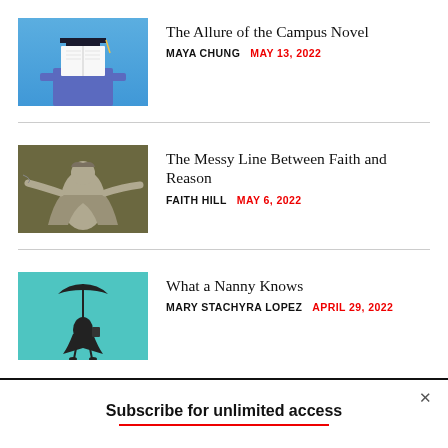[Figure (photo): Person in graduation gown with a book covering their face, blue background]
The Allure of the Campus Novel
MAYA CHUNG   MAY 13, 2022
[Figure (photo): Black and white image of a classical statue figure with outstretched arms, olive/dark background]
The Messy Line Between Faith and Reason
FAITH HILL   MAY 6, 2022
[Figure (photo): Silhouette of Mary Poppins-style figure floating with umbrella against teal background]
What a Nanny Knows
MARY STACHYRA LOPEZ   APRIL 29, 2022
Subscribe for unlimited access